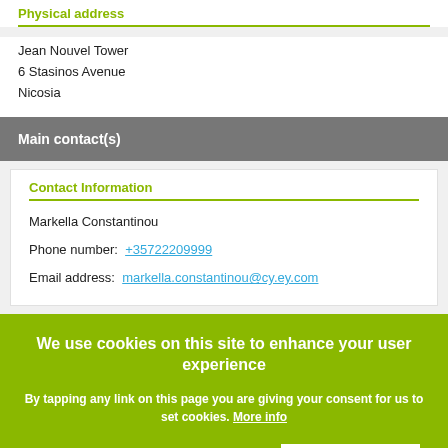Physical address
Jean Nouvel Tower
6 Stasinos Avenue
Nicosia
Main contact(s)
Contact Information
Markella Constantinou
Phone number: +35722209999
Email address: markella.constantinou@cy.ey.com
We use cookies on this site to enhance your user experience
By tapping any link on this page you are giving your consent for us to set cookies. More info
No, thanks
OK, I AGREE